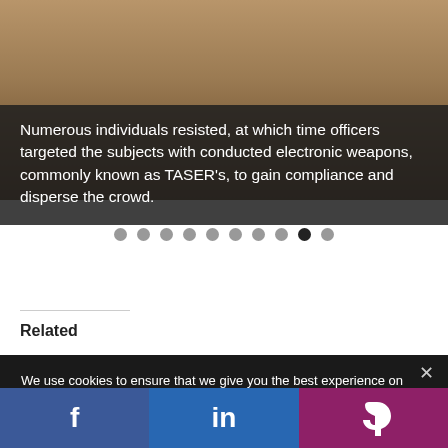[Figure (photo): Close-up photo of a person's face (mugshot-style), partially visible above a dark caption overlay]
Numerous individuals resisted, at which time officers targeted the subjects with conducted electronic weapons, commonly known as TASER's, to gain compliance and disperse the crowd.
● ● ● ● ● ● ● ● ● (slide indicator dots, 9th active)
Related
We use cookies to ensure that we give you the best experience on our website. If you continue to use this site we will assume that you are happy with it. This website is not intended for those who live in the European Economic Area.
[Figure (infographic): Social share bar with Facebook (f), LinkedIn (in), and Parler (P) buttons]